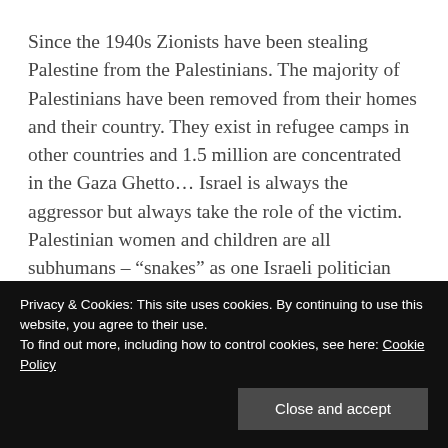Since the 1940s Zionists have been stealing Palestine from the Palestinians. The majority of Palestinians have been removed from their homes and their country. They exist in refugee camps in other countries and 1.5 million are concentrated in the Gaza Ghetto… Israel is always the aggressor but always take the role of the victim. Palestinian women and children are all subhumans – “snakes” as one Israeli politician put it– who sneak into Israel through secret tunnels (whose existence is akin to Saddam Hussein’s weapons of mass destruction) wearing suicide bomb belts and blow up innocent Israelis along with themselves… To stop this
Privacy & Cookies: This site uses cookies. By continuing to use this website, you agree to their use.
To find out more, including how to control cookies, see here: Cookie Policy